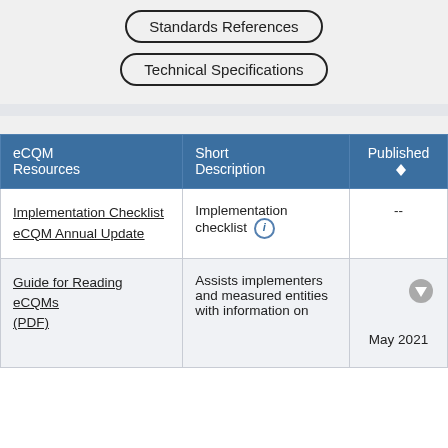[Figure (other): Pill-shaped button labeled 'Standards References']
[Figure (other): Pill-shaped button labeled 'Technical Specifications']
| eCQM Resources | Short Description | Published |
| --- | --- | --- |
| Implementation Checklist eCQM Annual Update | Implementation checklist (i) | -- |
| Guide for Reading eCQMs (PDF) | Assists implementers and measured entities with information on | May 2021 |